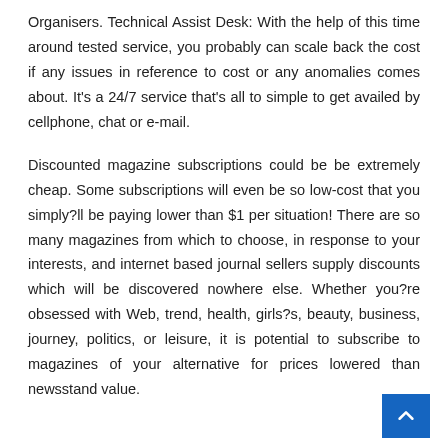Organisers. Technical Assist Desk: With the help of this time around tested service, you probably can scale back the cost if any issues in reference to cost or any anomalies comes about. It's a 24/7 service that's all to simple to get availed by cellphone, chat or e-mail.
Discounted magazine subscriptions could be be extremely cheap. Some subscriptions will even be so low-cost that you simply?ll be paying lower than $1 per situation! There are so many magazines from which to choose, in response to your interests, and internet based journal sellers supply discounts which will be discovered nowhere else. Whether you?re obsessed with Web, trend, health, girls?s, beauty, business, journey, politics, or leisure, it is potential to subscribe to magazines of your alternative for prices lowered than newsstand value.